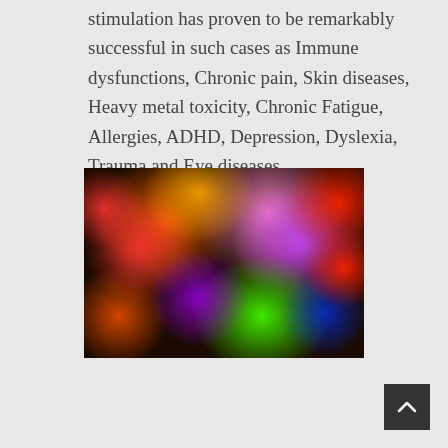stimulation has proven to be remarkably successful in such cases as Immune dysfunctions, Chronic pain, Skin diseases, Heavy metal toxicity, Chronic Fatigue, Allergies, ADHD, Depression, Dyslexia, Trauma and Eye diseases.
[Figure (photo): Abstract bokeh photograph showing colorful blurred circles of light in red, orange, pink, purple, blue, and green on a dark background]